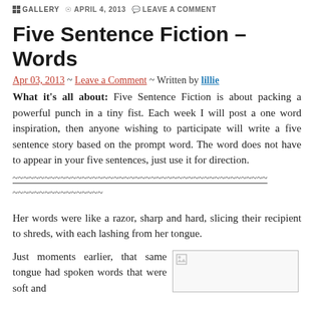GALLERY  APRIL 4, 2013  LEAVE A COMMENT
Five Sentence Fiction – Words
Apr 03, 2013 ~ Leave a Comment ~ Written by lillie
What it's all about: Five Sentence Fiction is about packing a powerful punch in a tiny fist. Each week I will post a one word inspiration, then anyone wishing to participate will write a five sentence story based on the prompt word. The word does not have to appear in your five sentences, just use it for direction.
~~~~~~~~~~~~~~~~~~~~~~~~~~~~~~~~~~~~~~~~~~~~~~~~
~~~~~~~~~~~~~~~~~
Her words were like a razor, sharp and hard, slicing their recipient to shreds, with each lashing from her tongue.
Just moments earlier, that same tongue had spoken words that were soft and
[Figure (photo): Broken image placeholder]